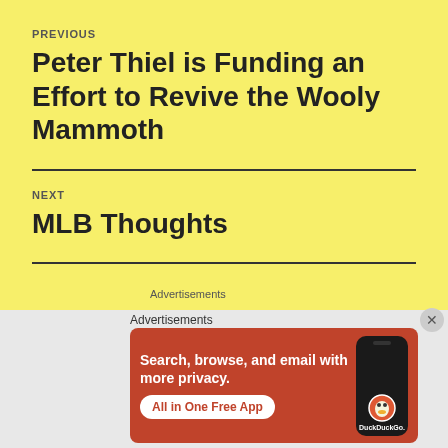PREVIOUS
Peter Thiel is Funding an Effort to Revive the Wooly Mammoth
NEXT
MLB Thoughts
Advertisements
[Figure (screenshot): DuckDuckGo advertisement banner with orange/red background showing 'Search, browse, and email with more privacy. All in One Free App' with a phone mockup showing DuckDuckGo logo.]